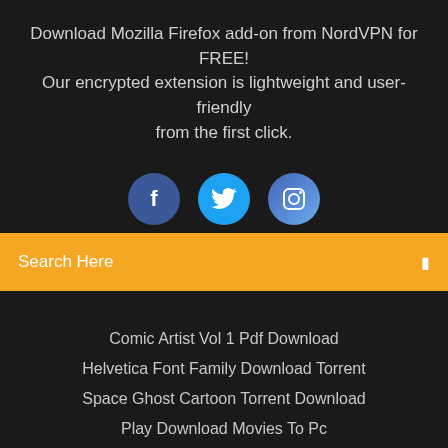Download Mozilla Firefox add-on from NordVPN for FREE! Our encrypted extension is lightweight and user-friendly from the first click.
[Figure (illustration): Three social media icon circles: Facebook (dark blue), Twitter (light blue), Instagram (blue gradient)]
Search Here
Comic Artist Vol 1 Pdf Download
Helvetica Font Family Download Torrent
Space Ghost Cartoon Torrent Download
Play Download Movies To Pc
Copyright ©2022 All rights reserved